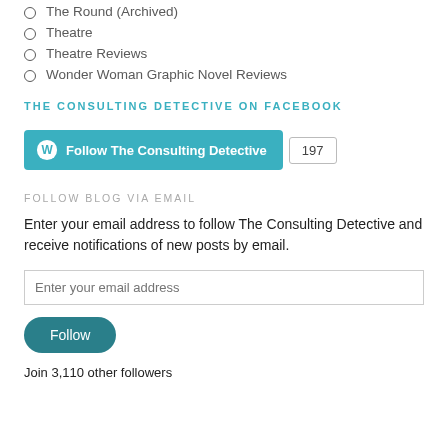The Round (Archived)
Theatre
Theatre Reviews
Wonder Woman Graphic Novel Reviews
THE CONSULTING DETECTIVE ON FACEBOOK
[Figure (other): WordPress Follow button showing 'Follow The Consulting Detective' with count badge showing 197]
FOLLOW BLOG VIA EMAIL
Enter your email address to follow The Consulting Detective and receive notifications of new posts by email.
Enter your email address
Follow
Join 3,110 other followers